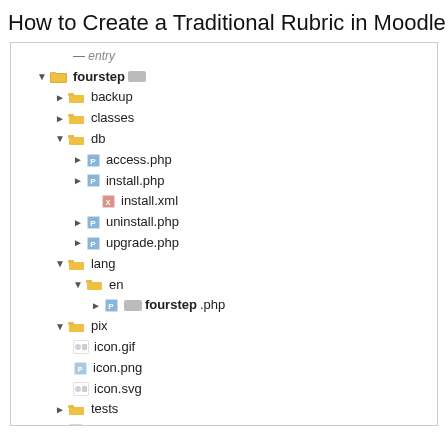How to Create a Traditional Rubric in Moodle
[Figure (screenshot): File tree / directory structure showing a Moodle plugin folder named 'fourstep' with subfolders: backup, classes, db (containing access.php, install.php, install.xml, uninstall.php, upgrade.php), lang > en > fourstep.php, pix (containing icon.gif, icon.png, icon.svg), tests, and files grade.php, index.php, lib.php, locallib.php, mod_form.php]